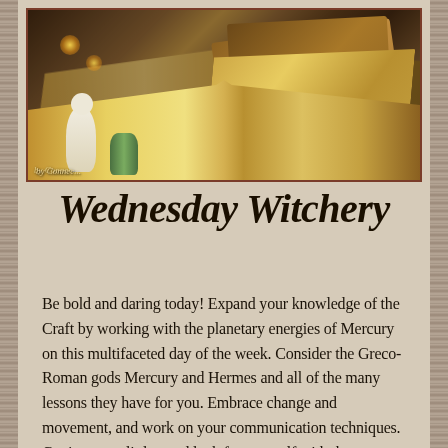[Figure (photo): A mystical scene with an open antique book, candles, an angel figurine, a green vase, and stacked books in a dark atmospheric setting. Text 'by Connec...' visible in lower left.]
Wednesday Witchery
Be bold and daring today! Expand your knowledge of the Craft by working with the planetary energies of Mercury on this multifaceted day of the week. Consider the Greco-Roman gods Mercury and Hermes and all of the many lessons they have for you. Embrace change and movement, and work on your communication techniques. Conjure up a little good luck for yourself with that Mercury dime spell.